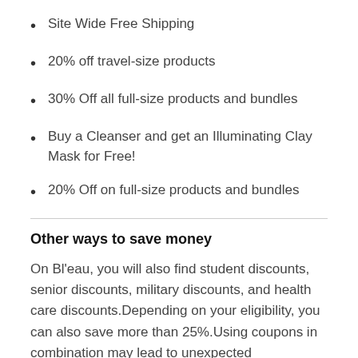Site Wide Free Shipping
20% off travel-size products
30% Off all full-size products and bundles
Buy a Cleanser and get an Illuminating Clay Mask for Free!
20% Off on full-size products and bundles
Other ways to save money
On Bl'eau, you will also find student discounts, senior discounts, military discounts, and health care discounts.Depending on your eligibility, you can also save more than 25%.Using coupons in combination may lead to unexpected discounts.The best way to find out specific information is to visit their